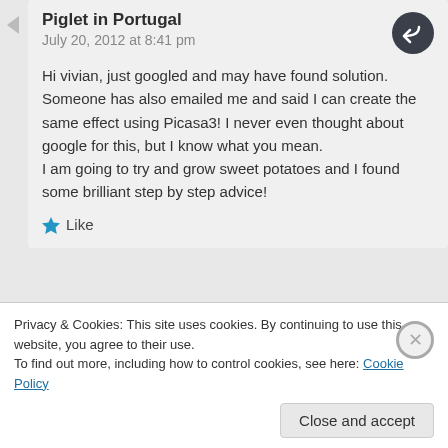Piglet in Portugal
July 20, 2012 at 8:41 pm
Hi vivian, just googled and may have found solution. Someone has also emailed me and said I can create the same effect using Picasa3! I never even thought about google for this, but I know what you mean.
I am going to try and grow sweet potatoes and I found some brilliant step by step advice!
Like
viviankirkfield
Privacy & Cookies: This site uses cookies. By continuing to use this website, you agree to their use.
To find out more, including how to control cookies, see here: Cookie Policy
Close and accept